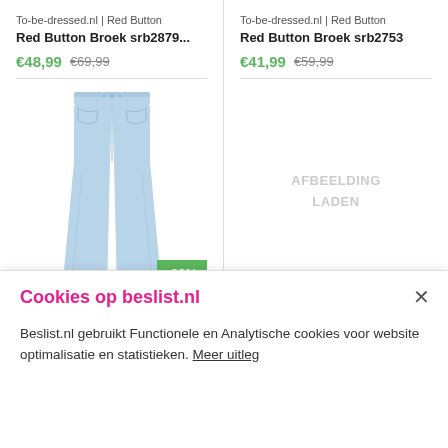To-be-dressed.nl | Red Button
Red Button Broek srb2879...
€48,99 €69,99
[Figure (photo): Light blue flared/bootcut jeans product photo on white background]
-30%
To-be-dressed.nl | Red Button
Red Button Broek srb2753
€41,99 €59,99
[Figure (photo): Placeholder showing AFBEELDING LADEN text in gray]
-20%
Cookies op beslist.nl
Beslist.nl gebruikt Functionele en Analytische cookies voor website optimalisatie en statistieken. Meer uitleg